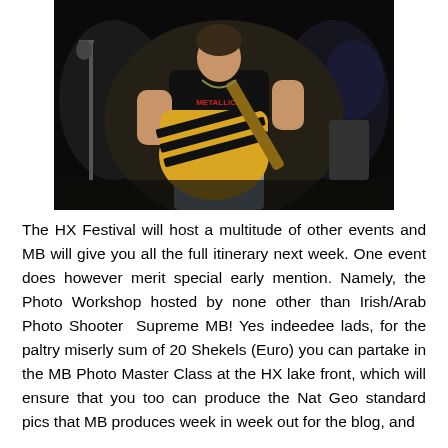[Figure (photo): A young man wearing a black Metallica t-shirt playing a black and yellow striped electric guitar on a dark stage, photographed from the front.]
The HX Festival will host a multitude of other events and MB will give you all the full itinerary next week. One event does however merit special early mention. Namely, the Photo Workshop hosted by none other than Irish/Arab Photo Shooter  Supreme MB! Yes indeedee lads, for the paltry miserly sum of 20 Shekels (Euro) you can partake in the MB Photo Master Class at the HX lake front, which will ensure that you too can produce the Nat Geo standard pics that MB produces week in week out for the blog, and